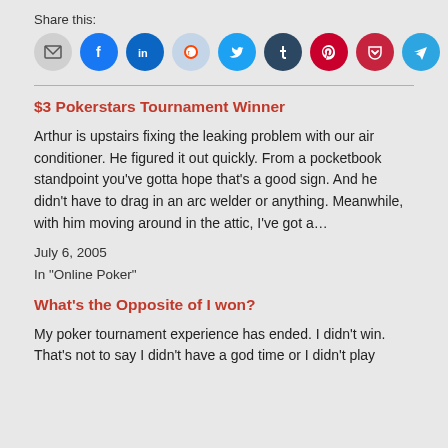Share this:
[Figure (infographic): Row of social sharing icon buttons: email (grey), Facebook (blue), LinkedIn (dark blue), Reddit (light blue), Twitter (cyan), Tumblr (dark navy), Pinterest (dark red), Pocket (red), Telegram (blue), WhatsApp (green)]
$3 Pokerstars Tournament Winner
Arthur is upstairs fixing the leaking problem with our air conditioner. He figured it out quickly. From a pocketbook standpoint you've gotta hope that's a good sign. And he didn't have to drag in an arc welder or anything. Meanwhile, with him moving around in the attic, I've got a…
July 6, 2005
In "Online Poker"
What's the Opposite of I won?
My poker tournament experience has ended. I didn't win. That's not to say I didn't have a god time or I didn't play